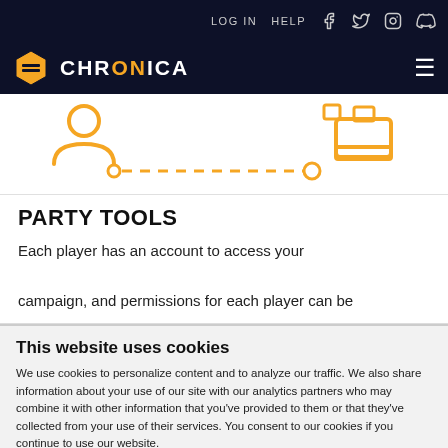LOG IN  HELP  [Facebook] [Twitter] [Instagram] [Discord]
[Figure (logo): Chronica logo with orange hexagon icon and white text CHRONICA on dark navy background]
[Figure (illustration): Orange line icons showing party tools: person with key, dashed arrow line, key icon, file/tray icon on white background]
PARTY TOOLS
Each player has an account to access your campaign, and permissions for each player can be
This website uses cookies
We use cookies to personalize content and to analyze our traffic. We also share information about your use of our site with our analytics partners who may combine it with other information that you've provided to them or that they've collected from your use of their services. You consent to our cookies if you continue to use our website.
Use necessary cookies only | Allow all cookies
Show details